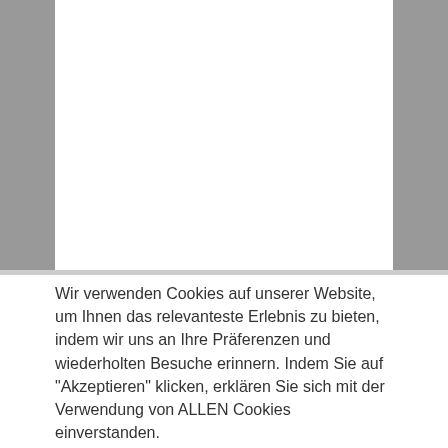[Figure (other): Top section with grey sidebars and white center area, representing a partially obscured webpage background]
Wir verwenden Cookies auf unserer Website, um Ihnen das relevanteste Erlebnis zu bieten, indem wir uns an Ihre Präferenzen und wiederholten Besuche erinnern. Indem Sie auf "Akzeptieren" klicken, erklären Sie sich mit der Verwendung von ALLEN Cookies einverstanden.
Cookie settings
Akzeptieren